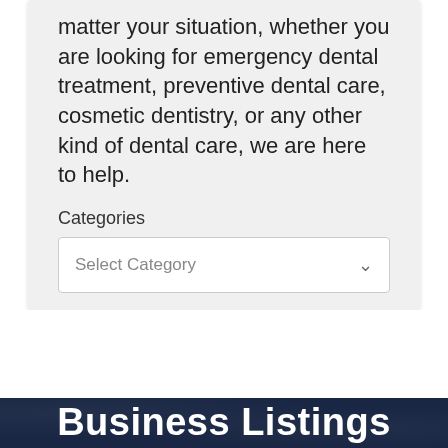matter your situation, whether you are looking for emergency dental treatment, preventive dental care, cosmetic dentistry, or any other kind of dental care, we are here to help.
Categories
Select Category
Business Listings